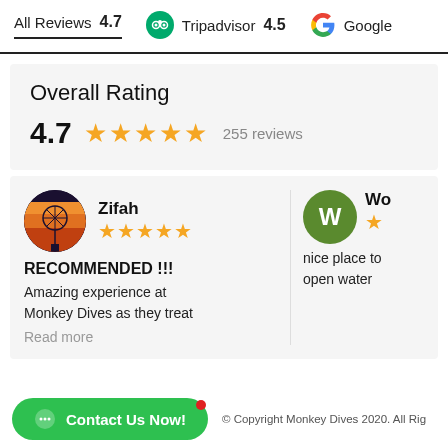All Reviews 4.7   Tripadvisor 4.5   Google
Overall Rating
4.7  ★★★★★  255 reviews
Zifah
★★★★★
RECOMMENDED !!!
Amazing experience at Monkey Dives as they treat
Read more
Wo
★
nice place to open water
Contact Us Now!   © Copyright Monkey Dives 2020. All Rights Reserved.